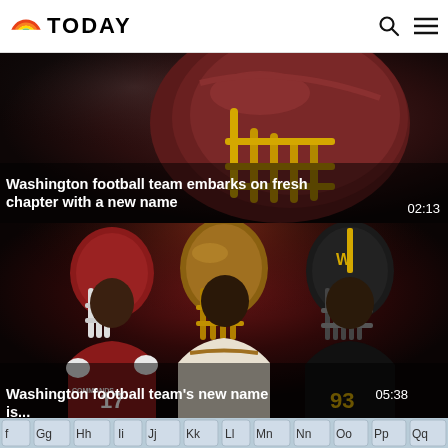TODAY
[Figure (photo): Close-up of a Washington football team helmet with yellow face guard on dark background, with article title overlay]
Washington football team embarks on fresh chapter with a new name
02:13
[Figure (photo): Three Washington Commanders players in different uniform colors (red, white/gold, black) posing with helmets, with article title overlay]
Washington football team's new name is...
05:38
[Figure (photo): Partial view of alphabet/educational tiles at bottom of page]